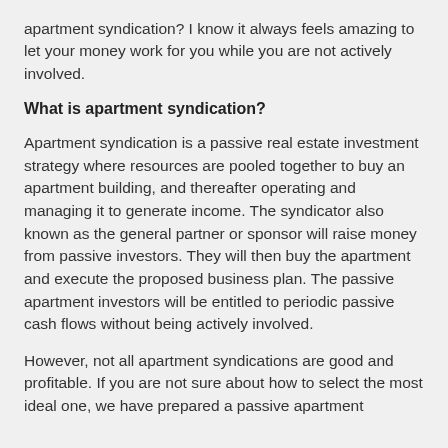apartment syndication? I know it always feels amazing to let your money work for you while you are not actively involved.
What is apartment syndication?
Apartment syndication is a passive real estate investment strategy where resources are pooled together to buy an apartment building, and thereafter operating and managing it to generate income. The syndicator also known as the general partner or sponsor will raise money from passive investors. They will then buy the apartment and execute the proposed business plan. The passive apartment investors will be entitled to periodic passive cash flows without being actively involved.
However, not all apartment syndications are good and profitable. If you are not sure about how to select the most ideal one, we have prepared a passive apartment